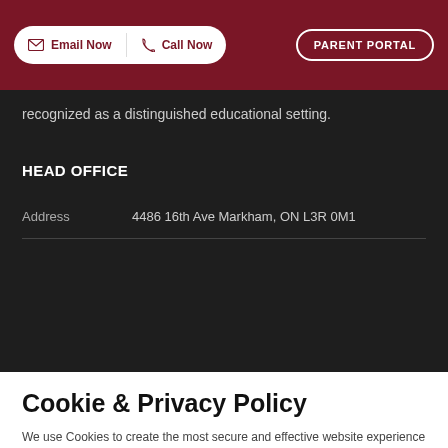Email Now | Call Now | PARENT PORTAL
recognized as a distinguished educational setting.
HEAD OFFICE
Address  4486 16th Ave Markham, ON L3R 0M1
Cookie & Privacy Policy
We use Cookies to create the most secure and effective website experience for our customers. For more information about Cookies and how you can disable Cookies, visit our privacy policy page. Learn More